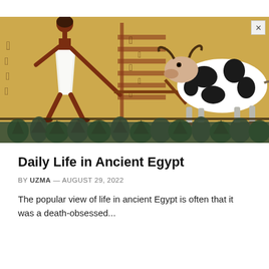[Figure (illustration): Ancient Egyptian wall painting showing a dark-skinned farmer/worker in a white linen skirt leading a black-and-white spotted cow, with hieroglyphics in the background on a yellow ochre surface, and blue-green plants along the bottom border.]
Daily Life in Ancient Egypt
BY UZMA — AUGUST 29, 2022
The popular view of life in ancient Egypt is often that it was a death-obsessed...